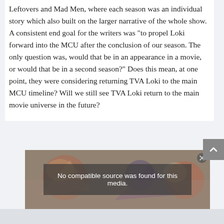Leftovers and Mad Men, where each season was an individual story which also built on the larger narrative of the whole show. A consistent end goal for the writers was “to propel Loki forward into the MCU after the conclusion of our season. The only question was, would that be in an appearance in a movie, or would that be in a second season?” Does this mean, at one point, they were considering returning TVA Loki to the main MCU timeline? Will we still see TVA Loki return to the main movie universe in the future?
[Figure (screenshot): Video player overlay showing 'No compatible source was found for this media.' message over illustrated artwork background, with a close button in top-right corner.]